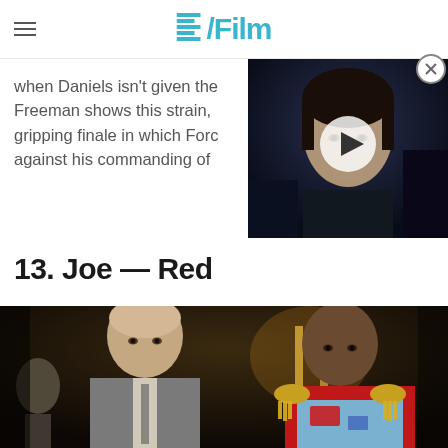/Film
when Daniels isn't given the Freeman shows this strain, gripping finale in which Fore against his commanding of
[Figure (screenshot): Video thumbnail showing a young woman with dark hair looking serious, dark sci-fi background, with a play button overlay]
13. Joe — Red
[Figure (photo): Two older men in a dimly lit ornate room. Left: bald man in grey suit. Right: Black man in a light blue military uniform with gold epaulettes and red trim.]